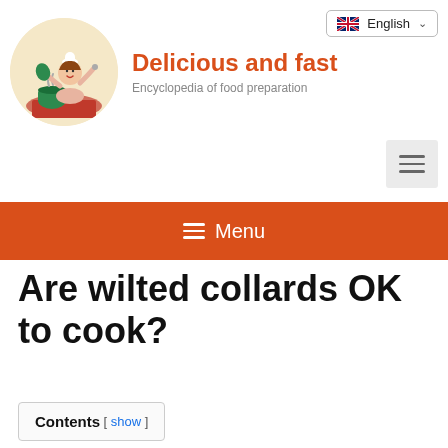[Figure (logo): Circular logo with illustrated cartoon chef woman cooking, on a beige/cream background]
Delicious and fast
Encyclopedia of food preparation
English
≡ Menu
Are wilted collards OK to cook?
Contents [ show ]